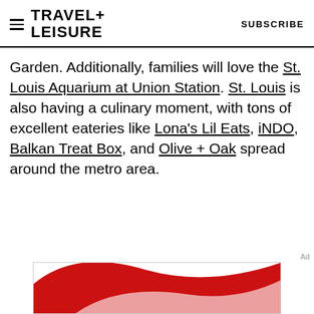TRAVEL+ LEISURE   SUBSCRIBE
Garden. Additionally, families will love the St. Louis Aquarium at Union Station. St. Louis is also having a culinary moment, with tons of excellent eateries like Lona's Lil Eats, iNDO, Balkan Treat Box, and Olive + Oak spread around the metro area.
[Figure (illustration): Advertisement banner with red and white curved swoosh design, partially visible at the bottom of the page]